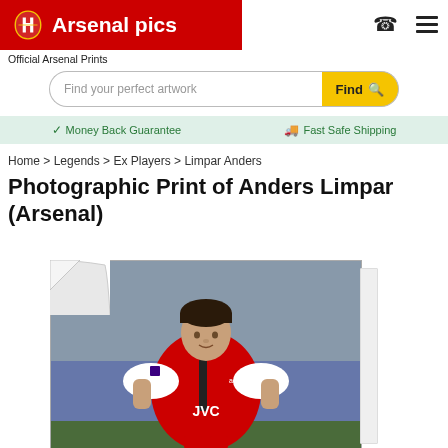Arsenal pics — Official Arsenal Prints
Find your perfect artwork
Money Back Guarantee | Fast Safe Shipping
Home > Legends > Ex Players > Limpar Anders
Photographic Print of Anders Limpar (Arsenal)
[Figure (photo): Anders Limpar in Arsenal red and white JVC kit, mid-action during a football match]